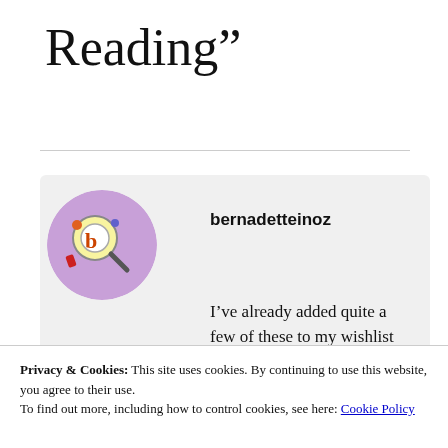Reading”
bernadetteinoz
I’ve already added quite a few of these to my wishlist Sarah, am particularly keen
Privacy & Cookies: This site uses cookies. By continuing to use this website, you agree to their use.
To find out more, including how to control cookies, see here: Cookie Policy
Close and accept